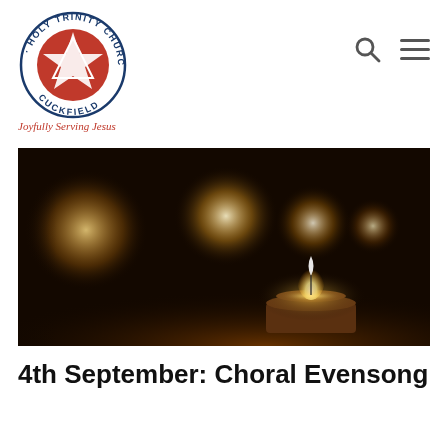[Figure (logo): Holy Trinity Church Cuckfield circular logo with red cross/star design and blue text around the rim]
Joyfully Serving Jesus
[Figure (photo): Close-up photograph of lit tea-light candles in a dark setting, warm amber glow, bokeh background]
4th September: Choral Evensong